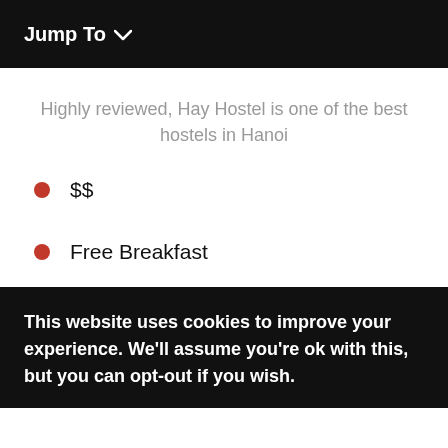Jump To
Highly reviewed, Hay Hostel is one of the best hostels in Hanoi
$$
Free Breakfast
Cafe & Bar
This website uses cookies to improve your experience. We'll assume you're ok with this, but you can opt-out if you wish.